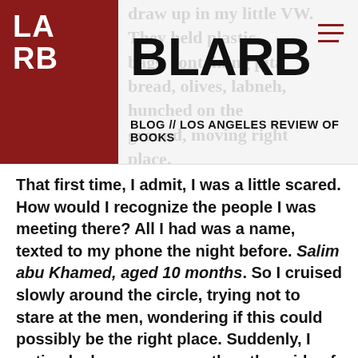BLARB — BLOG // LOS ANGELES REVIEW OF BOOKS
That first time, I admit, I was a little scared. How would I recognize the people I was meeting there? All I had was a name, texted to my phone the night before. Salim abu Khamed, aged 10 months. So I cruised slowly around the circle, trying not to stare at the men, wondering if this could possibly be the right place. Suddenly, I noticed a lone woman on the other side of the circle, dressed from head to toe in black. She waved to me and smiled broadly, and I waved back instinctively. Our eyes met. She was holding a tiny baby in her arms. A large bag rested on the dusty ground. I parked the